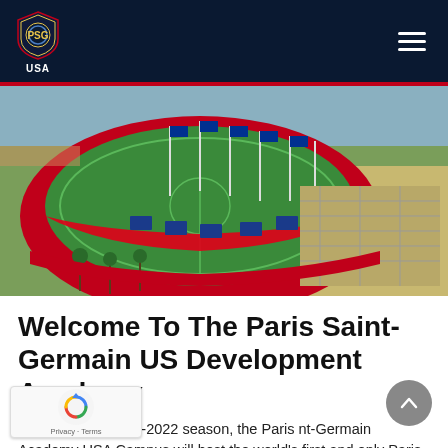PSG Academy USA Navigation Header
[Figure (photo): Aerial drone photograph of a soccer stadium/sports facility with red roof structures, green soccer fields, flagpoles, palm trees, and parking lots. The facility appears to be a circular or oval structure viewed from above at an angle.]
Welcome To The Paris Saint-Germain US Development Academy
the upcoming 2021-2022 season, the Paris nt-Germain Academy USA Campus will host the world's first and only Paris Saint-Germain US